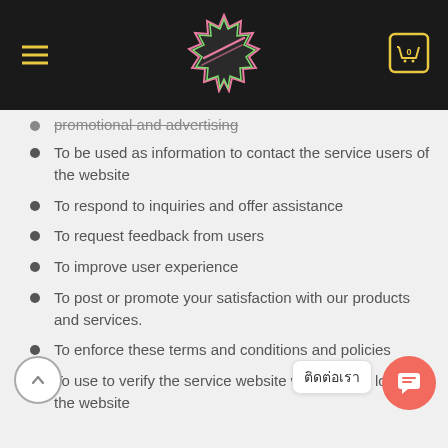Website header with logo, hamburger menu, and cart icon
promotional and advertising
To be used as information to contact the service users of the website
To respond to inquiries and offer assistance
To request feedback from users
To improve user experience
To post or promote your satisfaction with our products and services.
To enforce these terms and conditions and policies
To use to verify the service website who want to login to the website